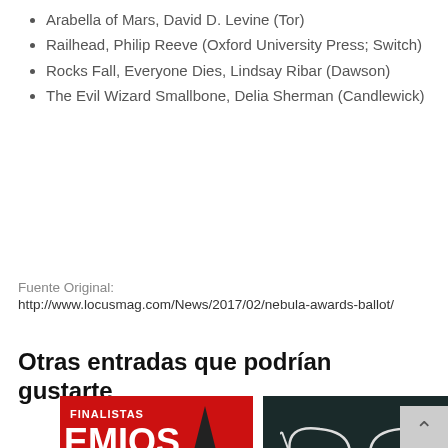Arabella of Mars, David D. Levine (Tor)
Railhead, Philip Reeve (Oxford University Press; Switch)
Rocks Fall, Everyone Dies, Lindsay Ribar (Dawson)
The Evil Wizard Smallbone, Delia Sherman (Candlewick)
Fuente Original:
http://www.locusmag.com/News/2017/02/nebula-awards-ballot/
Otras entradas que podrían gustarte
[Figure (photo): Red poster with text FINALISTAS PREMIOS HUGO and a rocket illustration]
[Figure (photo): Dark teal background with cat-eye glasses and text Shirley Jackson Awards]